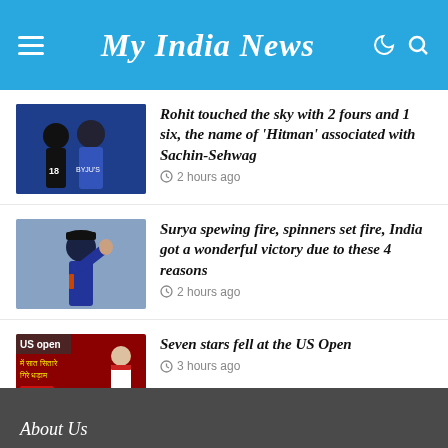My India News
Rohit touched the sky with 2 fours and 1 six, the name of ‘Hitman’ associated with Sachin-Sehwag — 2 hours ago
Surya spewing fire, spinners set fire, India got a wonderful victory due to these 4 reasons — 2 hours ago
Seven stars fell at the US Open — 3 hours ago
About Us